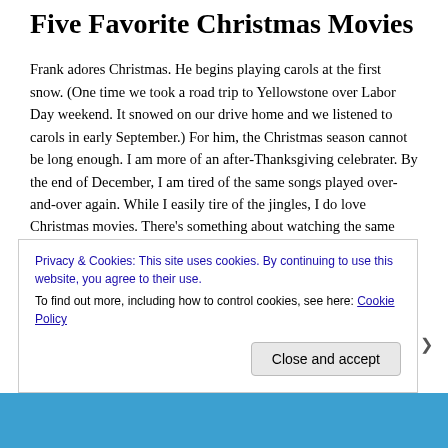Five Favorite Christmas Movies
Frank adores Christmas. He begins playing carols at the first snow. (One time we took a road trip to Yellowstone over Labor Day weekend. It snowed on our drive home and we listened to carols in early September.) For him, the Christmas season cannot be long enough. I am more of an after-Thanksgiving celebrater. By the end of December, I am tired of the same songs played over-and-over again. While I easily tire of the jingles, I do love Christmas movies. There's something about watching the same films
Privacy & Cookies: This site uses cookies. By continuing to use this website, you agree to their use.
To find out more, including how to control cookies, see here: Cookie Policy
Close and accept